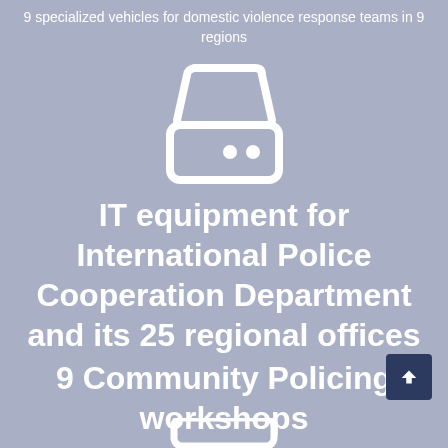9 specialized vehicles for domestic violence response teams in 9 regions
[Figure (illustration): White icon of a hard drive / server storage device on grey-purple background]
IT equipment for International Police Cooperation Department and its 25 regional offices
9 Community Policing workshops
[Figure (illustration): Partially visible white icon at the bottom of the page]